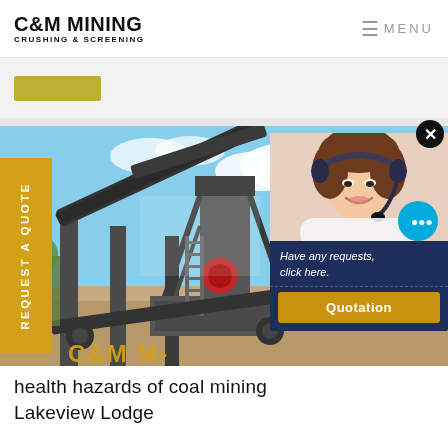C&M MINING CRUSHING & SCREENING  ☰ MENU
[Figure (screenshot): Gold/yellow button strip partially visible at top of page content area]
[Figure (photo): Mining crushing and screening equipment at an outdoor mining site with conveyor belts and industrial machinery against a blue sky with clouds. C&M M- watermark visible at bottom of image.]
[Figure (photo): Chat support popup overlay showing a smiling woman wearing a headset, a chat bubble icon, 'Have any requests, click here.' text in italic, and a gold 'Quotation' button on dark navy background.]
health hazards of coal mining
Lakeview Lodge